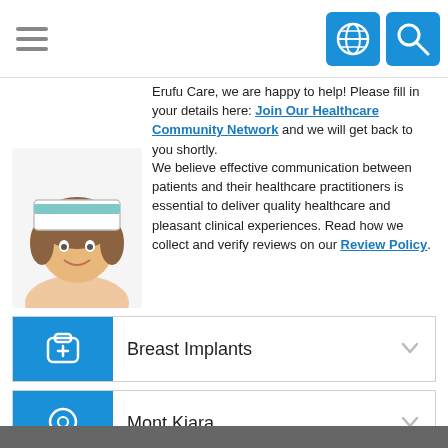Navigation bar with hamburger menu, globe icon, and search icon
Erufu Care, we are happy to help! Please fill in your details here: Join Our Healthcare Community Network and we will get back to you shortly.
[Figure (illustration): Cartoon nurse avatar illustration showing a nurse from the shoulders up wearing a nurse cap]
We believe effective communication between patients and their healthcare practitioners is essential to deliver quality healthcare and pleasant clinical experiences. Read how we collect and verify reviews on our Review Policy.
Breast Implants
Mont Kiara
SEARCH